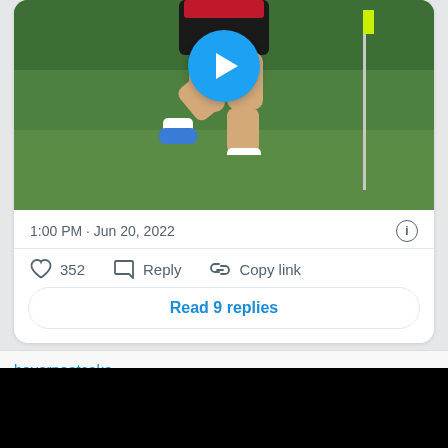[Figure (photo): A soccer/football player running on a grass training pitch, wearing red top and black shorts with blue cleats. A yellow flag pole is visible in the background. A play button overlay (blue circle with white triangle) is shown in the upper center of the image.]
1:00 PM · Jun 20, 2022
352   Reply   Copy link
Read 9 replies
bayernoatcake